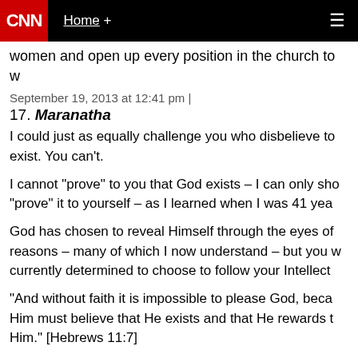CNN | Home + ☰
women and open up every position in the church to w…
September 19, 2013 at 12:41 pm |
17. Maranatha
I could just as equally challenge you who disbelieve to exist. You can't.
I cannot "prove" to you that God exists – I can only sho… "prove" it to yourself – as I learned when I was 41 yea…
God has chosen to reveal Himself through the eyes of … reasons – many of which I now understand – but you w… currently determined to choose to follow your Intellect…
"And without faith it is impossible to please God, beca… Him must believe that He exists and that He rewards t… Him." [Hebrews 11:7]
If you would choose to Obey, God will give you more t…